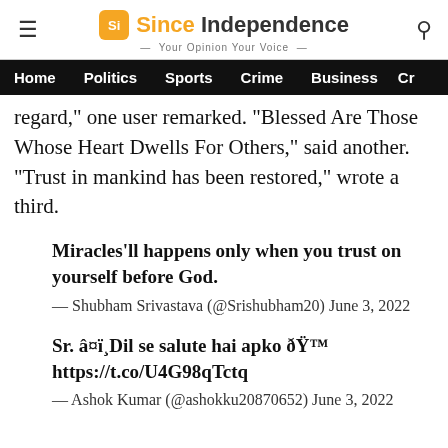Since Independence — Your Opinion Your Voice
Home  Politics  Sports  Crime  Business  Cr
regard," one user remarked. "Blessed Are Those Whose Heart Dwells For Others," said another. "Trust in mankind has been restored," wrote a third.
Miracles'll happens only when you trust on yourself before God.
— Shubham Srivastava (@Srishubham20) June 3, 2022
Sr. â¤ï¸Dil se salute hai apko ðŸ™ https://t.co/U4G98qTctq
— Ashok Kumar (@ashokku20870652) June 3, 2022